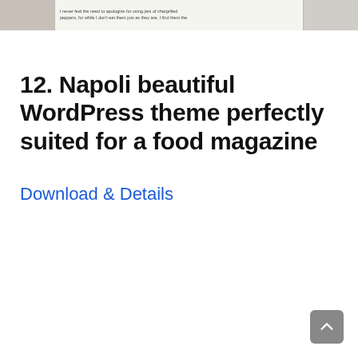[Figure (screenshot): Screenshot strip showing a food magazine website with three panels: a food image on the left, article text in the middle reading 'I never feel the need to apologize for using jars of chargrilled peppers, for while I don't eat them just as they are, I find them the', and a portrait photo on the right.]
12. Napoli beautiful WordPress theme perfectly suited for a food magazine
Download & Details